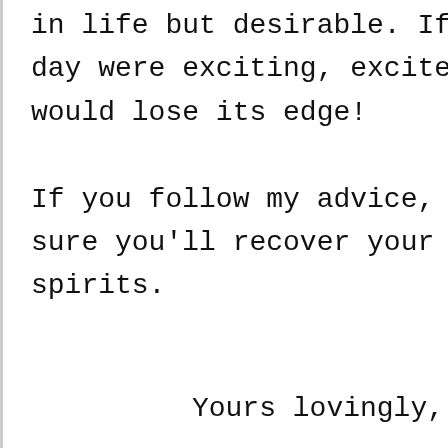in life but desirable. If every day were exciting, excitement would lose its edge!

If you follow my advice, I'm sure you'll recover your high spirits.
Yours lovingly,